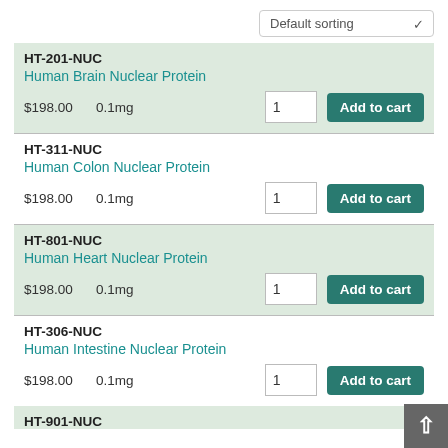Default sorting
HT-201-NUC
Human Brain Nuclear Protein
$198.00  0.1mg  1  Add to cart
HT-311-NUC
Human Colon Nuclear Protein
$198.00  0.1mg  1  Add to cart
HT-801-NUC
Human Heart Nuclear Protein
$198.00  0.1mg  1  Add to cart
HT-306-NUC
Human Intestine Nuclear Protein
$198.00  0.1mg  1  Add to cart
HT-901-NUC